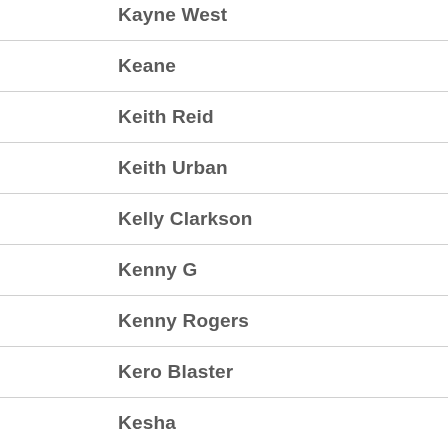Kayne West
Keane
Keith Reid
Keith Urban
Kelly Clarkson
Kenny G
Kenny Rogers
Kero Blaster
Kesha
Khalid
Kid Icarus
Kids